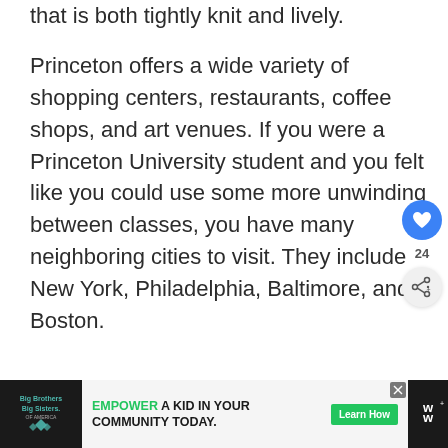that is both tightly knit and lively.
Princeton offers a wide variety of shopping centers, restaurants, coffee shops, and art venues. If you were a Princeton University student and you felt like you could use some more unwinding between classes, you have many neighboring cities to visit. They include New York, Philadelphia, Baltimore, and Boston.
[Figure (other): Heart/like button showing count of 24 and share button on right sidebar]
[Figure (other): Advertisement bar at bottom: Big Brothers Big Sisters logo on left, 'EMPOWER A KID IN YOUR COMMUNITY TODAY.' with Learn How button, and Walmart+ logo on right]